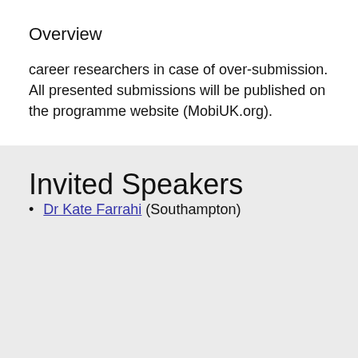Overview
career researchers in case of over-submission. All presented submissions will be published on the programme website (MobiUK.org).
Invited Speakers
Dr Kate Farrahi (Southampton)